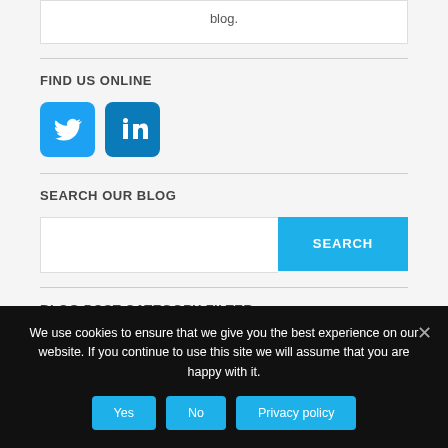To see where now, visit the YsforaPurple blog.
FIND US ONLINE
[Figure (illustration): Twitter and LinkedIn social media icon buttons in blue]
SEARCH OUR BLOG
[Figure (screenshot): Search input field with a blue SEARCH button]
BLOG POST CATEGORY FILTER
We use cookies to ensure that we give you the best experience on our website. If you continue to use this site we will assume that you are happy with it.